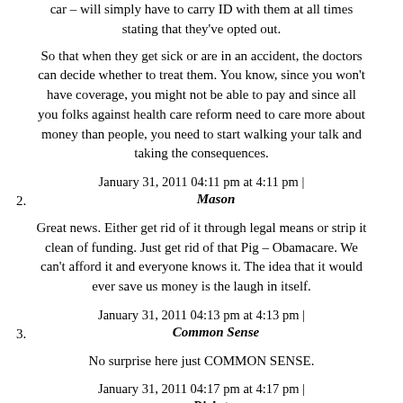car – will simply have to carry ID with them at all times stating that they've opted out.
So that when they get sick or are in an accident, the doctors can decide whether to treat them. You know, since you won't have coverage, you might not be able to pay and since all you folks against health care reform need to care more about money than people, you need to start walking your talk and taking the consequences.
January 31, 2011 04:11 pm at 4:11 pm |
2. Mason
Great news. Either get rid of it through legal means or strip it clean of funding. Just get rid of that Pig – Obamacare. We can't afford it and everyone knows it. The idea that it would ever save us money is the laugh in itself.
January 31, 2011 04:13 pm at 4:13 pm |
3. Common Sense
No surprise here just COMMON SENSE.
January 31, 2011 04:17 pm at 4:17 pm |
4. Rickster